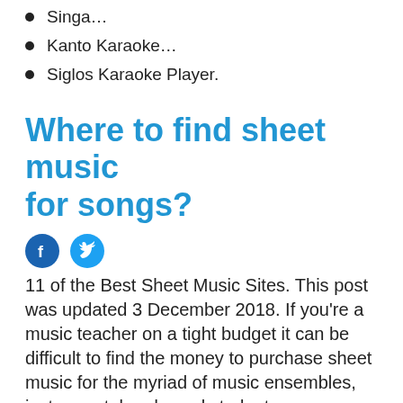Singa…
Kanto Karaoke…
Siglos Karaoke Player.
Where to find sheet music for songs?
[Figure (other): Facebook and Twitter social share icons]
11 of the Best Sheet Music Sites. This post was updated 3 December 2018. If you're a music teacher on a tight budget it can be difficult to find the money to purchase sheet music for the myriad of music ensembles, instrumental and vocal students you may have at your school.